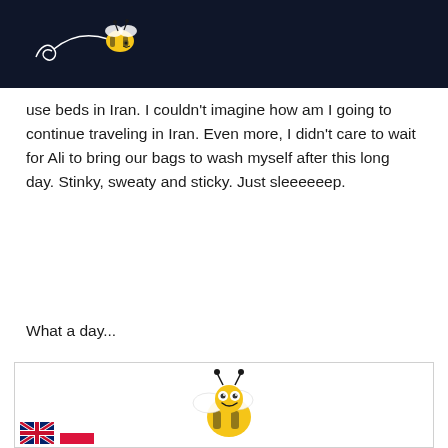[Figure (illustration): Dark navy header bar with cartoon bee logo and decorative swirl line]
use beds in Iran. I couldn't imagine how am I going to continue traveling in Iran. Even more, I didn't care to wait for Ali to bring our bags to wash myself after this long day. Stinky, sweaty and sticky. Just sleeeeeep.
What a day...
[Figure (illustration): Cartoon smiling bee illustration inside a bordered white box]
[Figure (illustration): UK flag and Polish flag icons at bottom left]